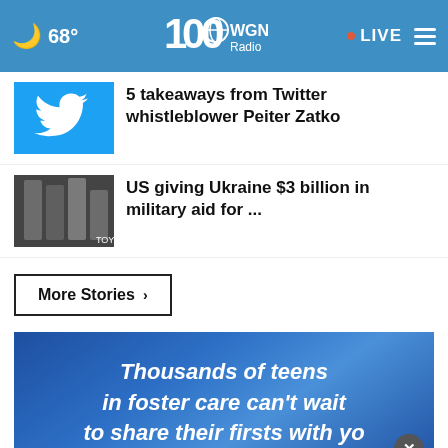68° WGN Radio · LIVE
5 takeaways from Twitter whistleblower Peiter Zatko
US giving Ukraine $3 billion in military aid for ...
More Stories ›
[Figure (infographic): Blue advertisement banner: 'Thousands of teens in foster care can't wait to share their firsts with yo' with an X close button]
[Figure (infographic): Bottom ad bar with HC logo (yellow), text 'View store hours, get directions, or call your salon!' and blue navigation arrow]